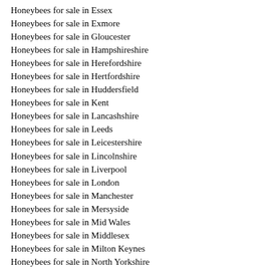Honeybees for sale in Essex
Honeybees for sale in Exmore
Honeybees for sale in Gloucester
Honeybees for sale in Hampshireshire
Honeybees for sale in Herefordshire
Honeybees for sale in Hertfordshire
Honeybees for sale in Huddersfield
Honeybees for sale in Kent
Honeybees for sale in Lancashshire
Honeybees for sale in Leeds
Honeybees for sale in Leicestershire
Honeybees for sale in Lincolnshire
Honeybees for sale in Liverpool
Honeybees for sale in London
Honeybees for sale in Manchester
Honeybees for sale in Mersyside
Honeybees for sale in Mid Wales
Honeybees for sale in Middlesex
Honeybees for sale in Milton Keynes
Honeybees for sale in North Yorkshire
Honeybees for sale in Newcastle
Honeybees for sale in Norfolk
Honeybees for sale in North Wales
Honeybees for sale in Northamptonshire
Honeybees for sale in Northumberland